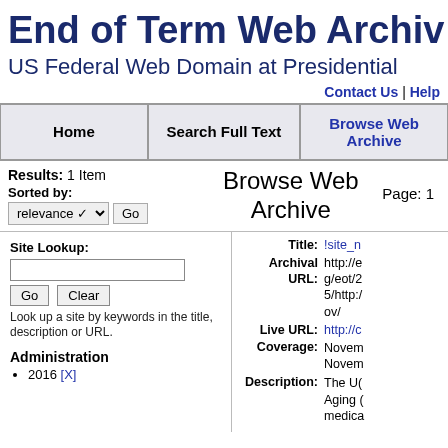End of Term Web Archive
US Federal Web Domain at Presidential
Contact Us | Help
| Home | Search Full Text | Browse Web Archive |
| --- | --- | --- |
Results: 1 Item
Browse Web Archive
Page: 1
Sorted by: relevance Go
Site Lookup:
Go Clear
Look up a site by keywords in the title, description or URL.
Administration
2016 [X]
Title: !site_n
Archival URL: http://e g/eot/2 5/http:/ ov/
Live URL: http://c
Coverage: Novem Novem
Description: The U( Aging ( medica